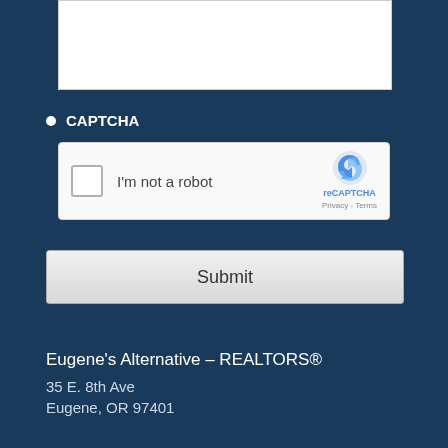[Figure (screenshot): reCAPTCHA widget with checkbox labeled 'I'm not a robot' and reCAPTCHA logo with Privacy - Terms links]
CAPTCHA
Submit
Eugene's Alternative – REALTORS®
35 E. 8th Ave
Eugene, OR 97401